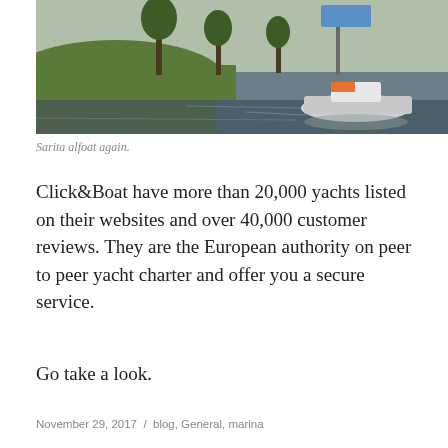[Figure (photo): A photo of a small boat called Sarita moored along a grassy riverbank with calm reflective water and trees in the background.]
Sarita alfoat again.
Click&Boat have more than 20,000 yachts listed on their websites and over 40,000 customer reviews. They are the European authority on peer to peer yacht charter and offer you a secure service.
Go take a look.
November 29, 2017  /  blog, General, marina